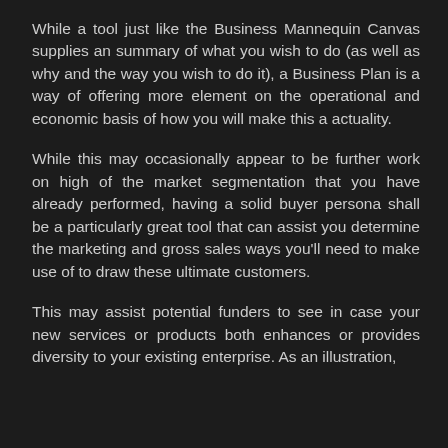While a tool just like the Business Mannequin Canvas supplies an summary of what you wish to do (as well as why and the way you wish to do it), a Business Plan is a way of offering more element on the operational and economic basis of how you will make this a actuality.
While this may occasionally appear to be further work on high of the market segmentation that you have already performed, having a solid buyer persona shall be a particularly great tool that can assist you determine the marketing and gross sales ways you'll need to make use of to draw these ultimate customers.
This may assist potential funders to see in case your new services or products both enhances or provides diversity to your existing enterprise. As an illustration,